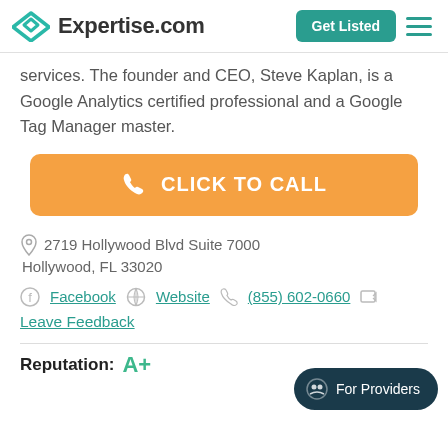Expertise.com | Get Listed
services. The founder and CEO, Steve Kaplan, is a Google Analytics certified professional and a Google Tag Manager master.
[Figure (other): Orange 'CLICK TO CALL' button with phone icon]
2719 Hollywood Blvd Suite 7000 Hollywood, FL 33020
Facebook | Website | (855) 602-0660 | Leave Feedback
Reputation: A+